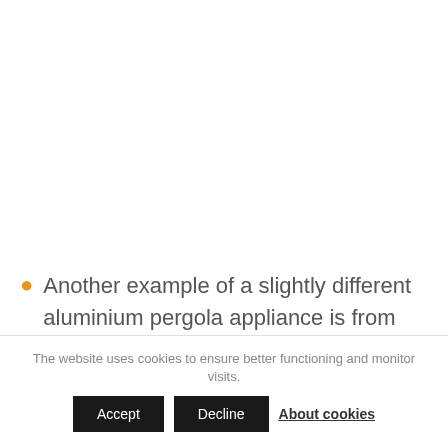Another example of a slightly different aluminium pergola appliance is from
The website uses cookies to ensure better functioning and monitor visits.